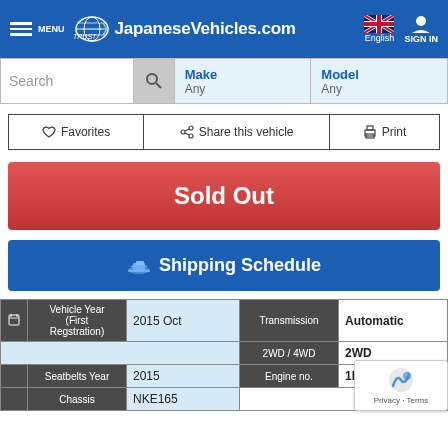TRUST JapaneseVehicles.com — English — SIGN IN
[Figure (screenshot): Search bar with Make (Any) and Model (Any) dropdowns]
Favorites
Share this vehicle
Print
Sold Out
Shipping Schedule
| Field | Value | Field | Value |
| --- | --- | --- | --- |
| Vehicle Year (First Regstration) | 2015 Oct | Transmission | Automatic |
|  |  | 2WD / 4WD | 2WD |
| Seatbelts Year | 2015 | Engine no. | 1NZ... |
| Chassis | NKE165 |  |  |